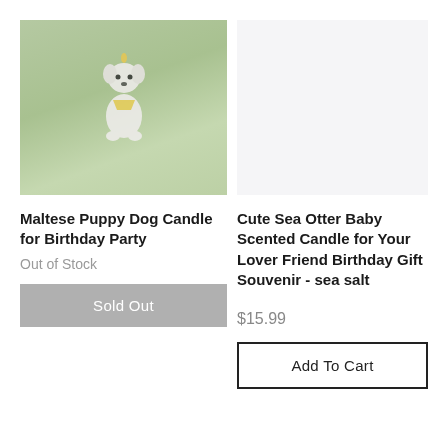[Figure (photo): Photo of a white Maltese puppy dog candle on green grass with pink flowers in the background]
Maltese Puppy Dog Candle for Birthday Party
Out of Stock
Sold Out
Cute Sea Otter Baby Scented Candle for Your Lover Friend Birthday Gift Souvenir - sea salt
$15.99
Add To Cart